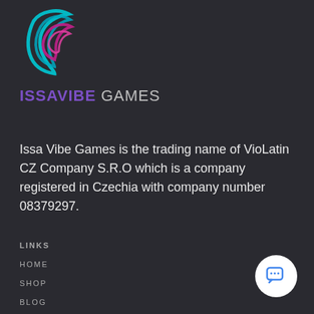[Figure (logo): Issavibe Games logo with swirling arc icon in cyan and pink/magenta colors above the text 'ISSAVIBE GAMES']
Issa Vibe Games is the trading name of VioLatin CZ Company S.R.O which is a company registered in Czechia with company number 08379297.
LINKS
HOME
SHOP
BLOG
AFFILIATE
CONTACT
TERMS OF SERVICE
PRIVACY POLICY
DELIVERY POLICY
RETURNS & REFUNDS POLICY